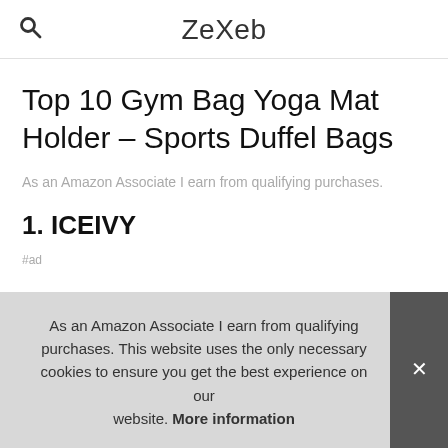ZeXeb
Top 10 Gym Bag Yoga Mat Holder – Sports Duffel Bags
As an Amazon Associate I earn from qualifying purchases.
1. ICEIVY
#ad
As an Amazon Associate I earn from qualifying purchases. This website uses the only necessary cookies to ensure you get the best experience on our website. More information